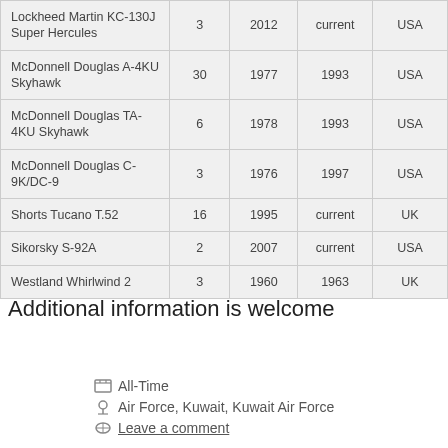| Aircraft | Number | Year | Retired | Origin |
| --- | --- | --- | --- | --- |
| Lockheed Martin KC-130J Super Hercules | 3 | 2012 | current | USA |
| McDonnell Douglas A-4KU Skyhawk | 30 | 1977 | 1993 | USA |
| McDonnell Douglas TA-4KU Skyhawk | 6 | 1978 | 1993 | USA |
| McDonnell Douglas C-9K/DC-9 | 3 | 1976 | 1997 | USA |
| Shorts Tucano T.52 | 16 | 1995 | current | UK |
| Sikorsky S-92A | 2 | 2007 | current | USA |
| Westland Whirlwind 2 | 3 | 1960 | 1963 | UK |
Additional information is welcome
All-Time
Air Force, Kuwait, Kuwait Air Force
Leave a comment